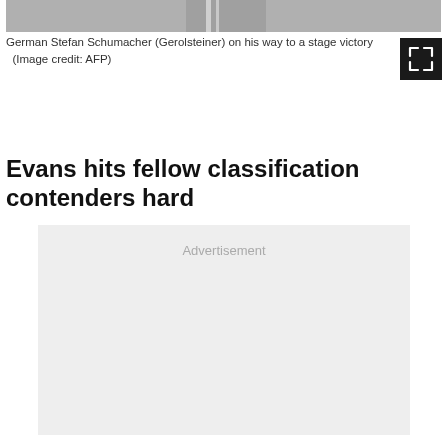[Figure (photo): Partial photo of German cyclist Stefan Schumacher (Gerolsteiner) on his way to a stage victory, cropped at top of page]
German Stefan Schumacher (Gerolsteiner) on his way to a stage victory (Image credit: AFP)
[Figure (other): Expand/fullscreen button icon with four outward-pointing arrows on dark background]
Evans hits fellow classification contenders hard
Advertisement